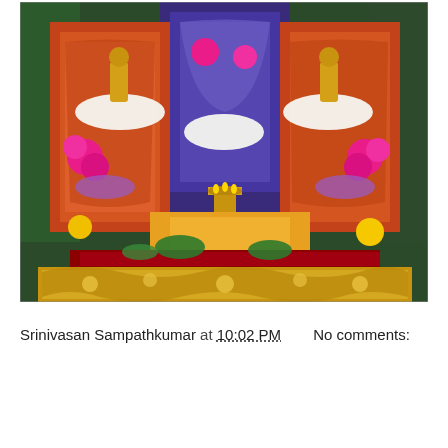[Figure (photo): Hindu temple idols/deities adorned with colorful silk garments, flower garlands in pink, white, yellow and purple, and gold ornaments. A decorative gold base/pedestal is visible at the bottom of the image.]
Srinivasan Sampathkumar at 10:02 PM    No comments: